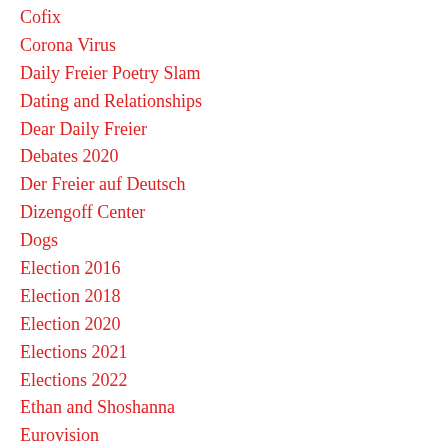Cofix
Corona Virus
Daily Freier Poetry Slam
Dating and Relationships
Dear Daily Freier
Debates 2020
Der Freier auf Deutsch
Dizengoff Center
Dogs
Election 2016
Election 2018
Election 2020
Elections 2021
Elections 2022
Ethan and Shoshanna
Eurovision
Facial Hair